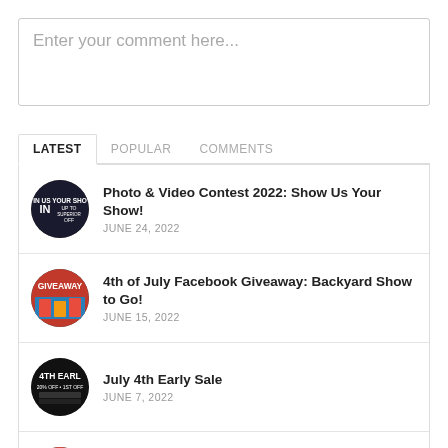Enter your comment here...
LATEST | POPULAR | COMMENTS
Photo & Video Contest 2022: Show Us Your Show!
JUNE 24, 2022
4th of July Facebook Giveaway: Backyard Show to Go!
JUNE 15, 2022
July 4th Early Sale
JUNE 7, 2022
Memorial Day Fireworks Sale
MAY 20, 2022